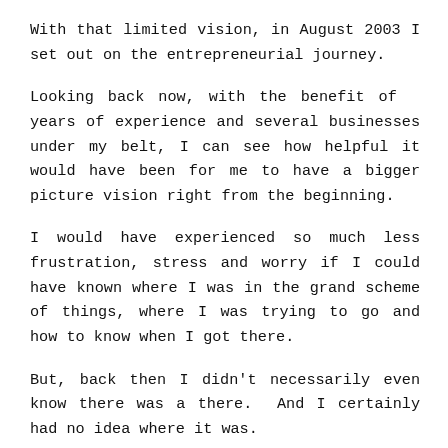With that limited vision, in August 2003 I set out on the entrepreneurial journey.
Looking back now, with the benefit of  years of experience and several businesses under my belt, I can see how helpful it would have been for me to have a bigger picture vision right from the beginning.
I would have experienced so much less frustration, stress and worry if I could have known where I was in the grand scheme of things, where I was trying to go and how to know when I got there.
But, back then I didn't necessarily even know there was a there.  And I certainly had no idea where it was.